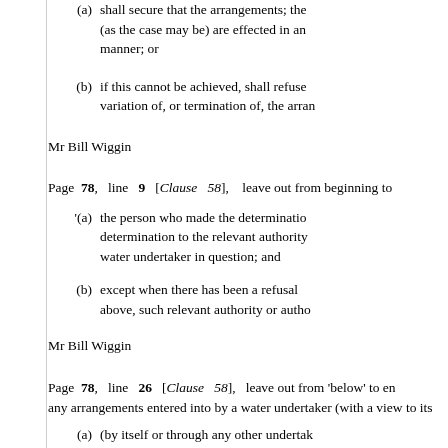(a) shall secure that the arrangements; the (as the case may be) are effected in an manner; or
(b) if this cannot be achieved, shall refuse variation of, or termination of, the arran
Mr Bill Wiggin
Page 78, line 9 [Clause 58], leave out from beginning to
'(a) the person who made the determination determination to the relevant authority water undertaker in question; and
(b) except when there has been a refusal above, such relevant authority or autho
Mr Bill Wiggin
Page 78, line 26 [Clause 58], leave out from 'below' to en any arrangements entered into by a water undertaker (with a view to its
(a) (by itself or through any other undertak premises in any other area (whether o